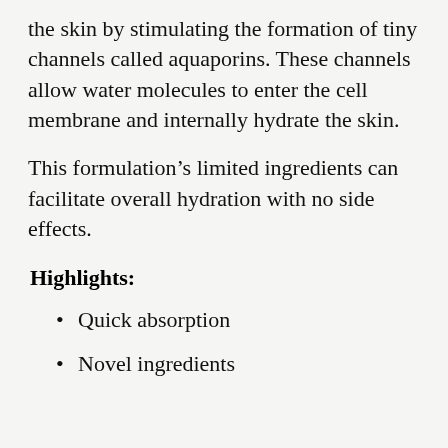the skin by stimulating the formation of tiny channels called aquaporins. These channels allow water molecules to enter the cell membrane and internally hydrate the skin.
This formulation’s limited ingredients can facilitate overall hydration with no side effects.
Highlights:
Quick absorption
Novel ingredients